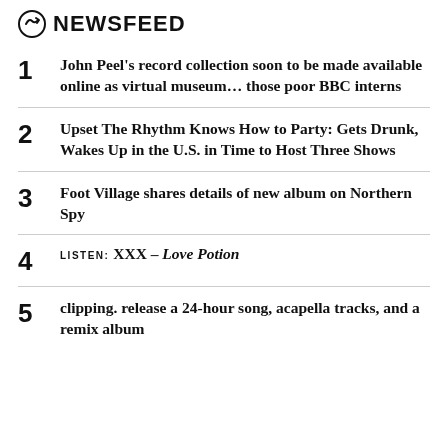NEWSFEED
1. John Peel's record collection soon to be made available online as virtual museum... those poor BBC interns
2. Upset The Rhythm Knows How to Party: Gets Drunk, Wakes Up in the U.S. in Time to Host Three Shows
3. Foot Village shares details of new album on Northern Spy
4. LISTEN: XXX – Love Potion
5. clipping. release a 24-hour song, acapella tracks, and a remix album